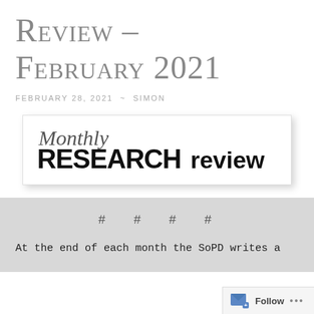Review – February 2021
FEBRUARY 28, 2021 ~ SIMON
[Figure (logo): Monthly Research Review logo: italic script 'Monthly' above bold uppercase 'RESEARCH review' text on white background with drop shadow]
# # # #
At the end of each month the SoPD writes a